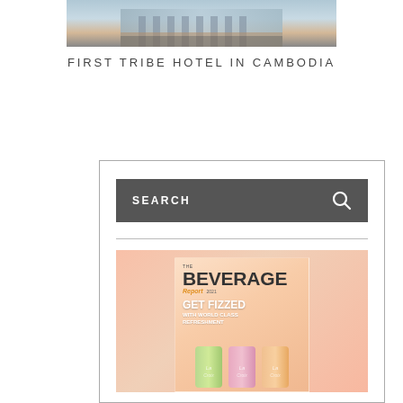[Figure (photo): Hotel building exterior photo with reflective glass facade, shown at top of page]
FIRST TRIBE HOTEL IN CAMBODIA
[Figure (screenshot): Website sidebar widget showing a dark gray search bar with SEARCH label and magnifying glass icon, a horizontal divider, and a magazine advertisement for 'The Beverage Report 2021' featuring pastel-colored La Croix cans with headline GET FIZZED WITH WORLD CLASS REFRESHMENT on a peachy-pink gradient background]